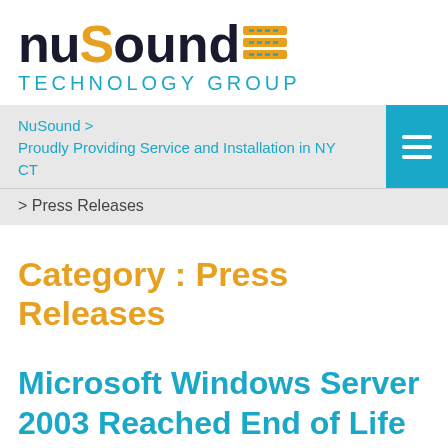[Figure (logo): NuSound Technology Group logo with stylized 'S' in orange and grid icon]
NuSound > Proudly Providing Service and Installation in NY CT
> Press Releases
Category : Press Releases
Microsoft Windows Server 2003 Reached End of Life and Is No Longer Supported